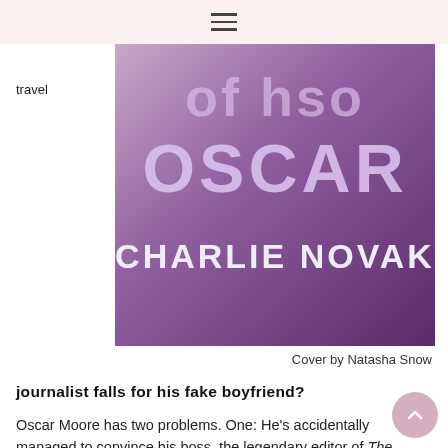≡
travel
[Figure (illustration): Book cover for 'Oscar' by Charlie Novak, designed by Natasha Snow. Purple/mauve gradient background with large text 'OSCAR' and 'CHARLIE NOVAK' in white/light lavender bold font.]
Cover by Natasha Snow
journalist falls for his fake boyfriend?
Oscar Moore has two problems. One: He's accidentally managed to convince his boss, the legendary editor of The Traveller, that he has a boyfriend. And two: he now has to persuade photographer and casual acquaintance, Ilias Verra to play along for a week-long couple's retreat in